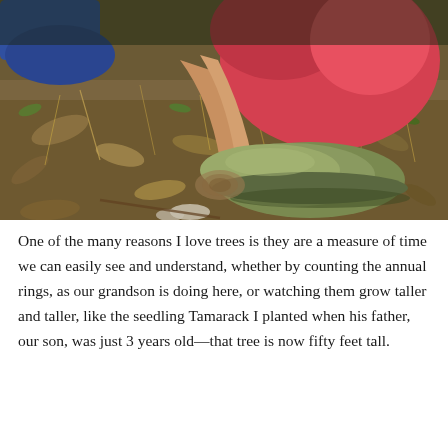[Figure (photo): Close-up photo of a person crouching on the ground in a forest setting, wearing a red/pink shirt and olive green slip-on shoes, examining or counting tree rings on a cut stump or log among dry leaves and debris on the ground.]
One of the many reasons I love trees is they are a measure of time we can easily see and understand, whether by counting the annual rings, as our grandson is doing here, or watching them grow taller and taller, like the seedling Tamarack I planted when his father, our son, was just 3 years old—that tree is now fifty feet tall.